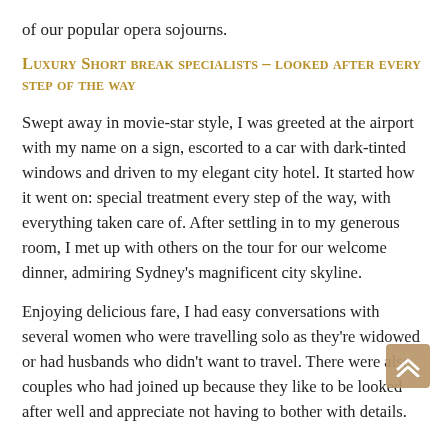of our popular opera sojourns.
Luxury Short break specialists – looked after every step of the way
Swept away in movie-star style, I was greeted at the airport with my name on a sign, escorted to a car with dark-tinted windows and driven to my elegant city hotel. It started how it went on: special treatment every step of the way, with everything taken care of. After settling in to my generous room, I met up with others on the tour for our welcome dinner, admiring Sydney's magnificent city skyline.
Enjoying delicious fare, I had easy conversations with several women who were travelling solo as they're widowed or had husbands who didn't want to travel. There were also couples who had joined up because they like to be looked after well and appreciate not having to bother with details.